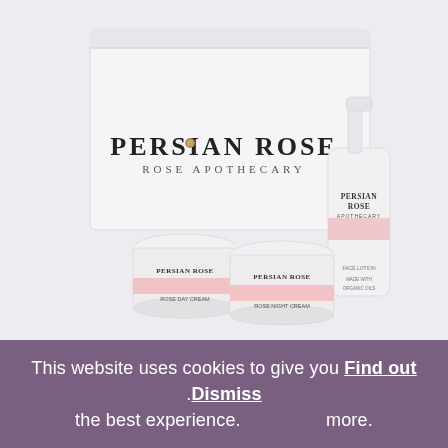[Figure (photo): Persian Rose Apothecary skincare gift set: white box branded 'PERSIAN ROSE ROSE APOTHECARY', two small cream jars labeled 'Persian Rose' (Rose Day Cream and Rose Night Cream), and one spray bottle labeled 'Persian Rose Apothecary', all on a light lavender/grey background.]
This website uses cookies to give you Find out .Dismiss the best experience. more.